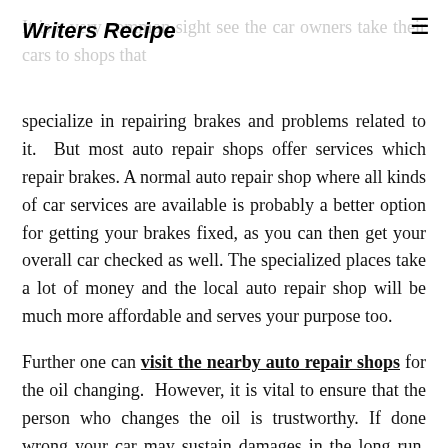Writers Recipe
It is a very common sight see the car owners take their cars to shops that specialize in repairing brakes and problems related to it. But most auto repair shops offer services which repair brakes. A normal auto repair shop where all kinds of car services are available is probably a better option for getting your brakes fixed, as you can then get your overall car checked as well. The specialized places take a lot of money and the local auto repair shop will be much more affordable and serves your purpose too.
Further one can visit the nearby auto repair shops for the oil changing. However, it is vital to ensure that the person who changes the oil is trustworthy. If done wrong your car may sustain damages in the long run. Cars are one of the most used vehicles across the globe and private cars are widely used modes of